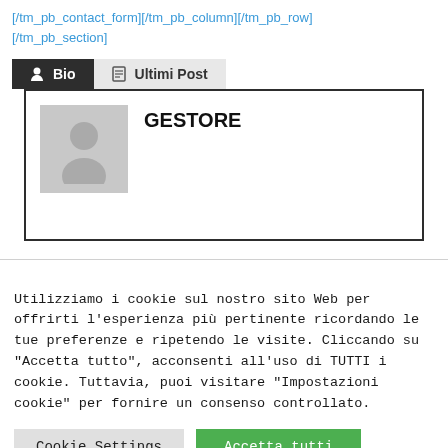[/tm_pb_contact_form][/tm_pb_column][/tm_pb_row][/tm_pb_section]
[Figure (screenshot): Bio tab (dark/selected) and Ultimi Post tab (light/unselected) tab bar above a bio box containing a generic user avatar placeholder and the name GESTORE in bold.]
Utilizziamo i cookie sul nostro sito Web per offrirti l'esperienza più pertinente ricordando le tue preferenze e ripetendo le visite. Cliccando su "Accetta tutto", acconsenti all'uso di TUTTI i cookie. Tuttavia, puoi visitare "Impostazioni cookie" per fornire un consenso controllato.
Cookie Settings   Accetta tutti